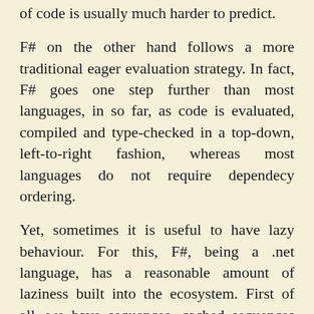of code is usually much harder to predict.
F# on the other hand follows a more traditional eager evaluation strategy. In fact, F# goes one step further than most languages, in so far, as code is evaluated, compiled and type-checked in a top-down, left-to-right fashion, whereas most languages do not require dependecy ordering.
Yet, sometimes it is useful to have lazy behaviour. For this, F#, being a .net language, has a reasonable amount of laziness built into the ecosystem. First of all, we have sequences, cached sequences and lazy lists, those roughly correspond to Haskell's lists. Those are useful for certain algorithms, where it is most natural to start off with infinite sequences and filter, fold or search over them.
Apart from that, F# has a lazy keyword, which allow to mark any expression for lazy evaluation. So whilst